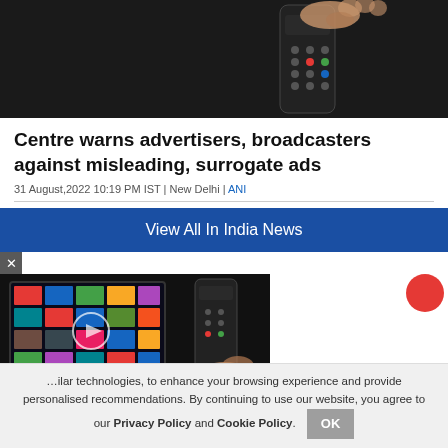[Figure (photo): Hand holding TV remote control against dark background]
Centre warns advertisers, broadcasters against misleading, surrogate ads
31 August,2022 10:19 PM IST | New Delhi | ANI
[Figure (screenshot): Blue button bar reading 'View All In India News']
[Figure (photo): Hand holding remote control pointed at TV screen with media thumbnails]
...ilar technologies, to enhance your browsing experience and provide personalised recommendations. By continuing to use our website, you agree to our Privacy Policy and Cookie Policy.